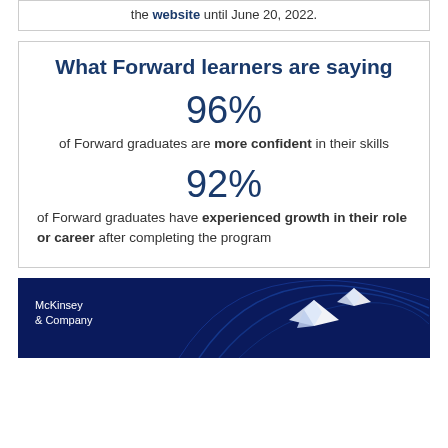the website until June 20, 2022.
What Forward learners are saying
96%
of Forward graduates are more confident in their skills
92%
of Forward graduates have experienced growth in their role or career after completing the program
[Figure (logo): McKinsey & Company logo on dark blue background with white origami bird shapes and blue wave lines]